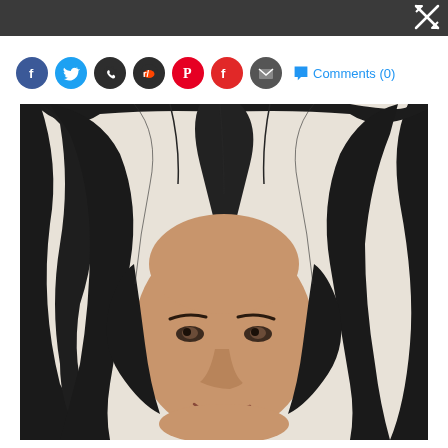Comments (0)
[Figure (photo): Portrait photo of a young girl with long, dark, voluminous straightened hair, smiling at the camera against a light background.]